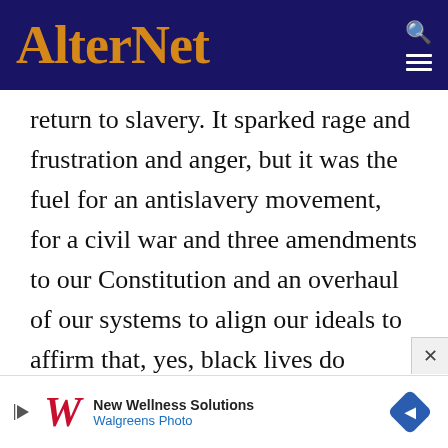AlterNet
return to slavery. It sparked rage and frustration and anger, but it was the fuel for an antislavery movement, for a civil war and three amendments to our Constitution and an overhaul of our systems to align our ideals to affirm that, yes, black lives do matter. And yet the hydra of white supremacy persistently sought measures to subvert citizenship.
The definitive moment for Missouri's social
[Figure (screenshot): Walgreens advertisement banner: New Wellness Solutions - Walgreens Photo, with blue diamond navigation icon]